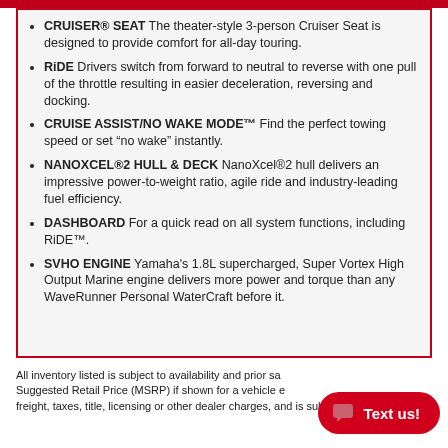CRUISER® SEAT The theater-style 3-person Cruiser Seat is designed to provide comfort for all-day touring.
RiDE Drivers switch from forward to neutral to reverse with one pull of the throttle resulting in easier deceleration, reversing and docking.
CRUISE ASSIST/NO WAKE MODE™ Find the perfect towing speed or set "no wake" instantly.
NANOXCEL®2 HULL & DECK NanoXcel®2 hull delivers an impressive power-to-weight ratio, agile ride and industry-leading fuel efficiency.
DASHBOARD For a quick read on all system functions, including RiDE™.
SVHO ENGINE Yamaha's 1.8L supercharged, Super Vortex High Output Marine engine delivers more power and torque than any WaveRunner Personal WaterCraft before it.
All inventory listed is subject to availability and prior sale. Suggested Retail Price (MSRP) if shown for a vehicle excludes set-up, freight, taxes, title, licensing or other dealer charges, and is subject to